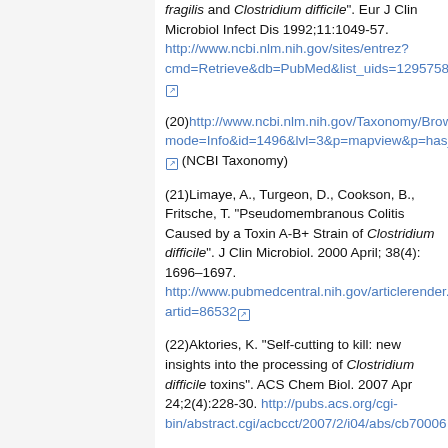fragilis and Clostridium difficile". Eur J Clin Microbiol Infect Dis 1992;11:1049-57. http://www.ncbi.nlm.nih.gov/sites/entrez?cmd=Retrieve&db=PubMed&list_uids=1295758&dopt=Abstract
(20)http://www.ncbi.nlm.nih.gov/Taxonomy/Browser/wwwtax.cgi?mode=Info&id=1496&lvl=3&p=mapview&p=has_linkout&p=blast_url&p=genome_blast&lin=f&keep=1&srchmode=1&unlock (NCBI Taxonomy)
(21)Limaye, A., Turgeon, D., Cookson, B., Fritsche, T. "Pseudomembranous Colitis Caused by a Toxin A-B+ Strain of Clostridium difficile". J Clin Microbiol. 2000 April; 38(4): 1696-1697. http://www.pubmedcentral.nih.gov/articlerender.fcgi?artid=86532
(22)Aktories, K. "Self-cutting to kill: new insights into the processing of Clostridium difficile toxins". ACS Chem Biol. 2007 Apr 24;2(4):228-30. http://pubs.acs.org/cgi-bin/abstract.cgi/acbcct/2007/2/i04/abs/cb70006...